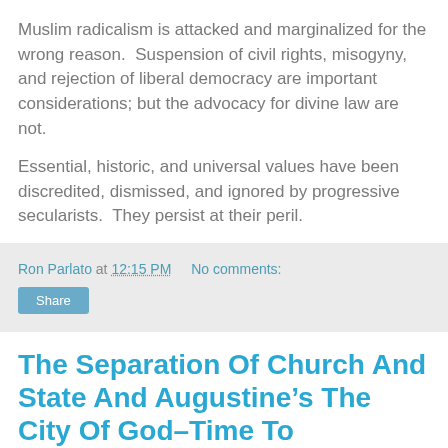Muslim radicalism is attacked and marginalized for the wrong reason.  Suspension of civil rights, misogyny, and rejection of liberal democracy are important considerations; but the advocacy for divine law are not.
Essential, historic, and universal values have been discredited, dismissed, and ignored by progressive secularists.  They persist at their peril.
Ron Parlato at 12:15 PM   No comments:
Share
The Separation Of Church And State And Augustine’s The City Of God–Time To Reconsider Secularism?
Ivan Karamazov, Dostoevsky’s  character in The Brothers